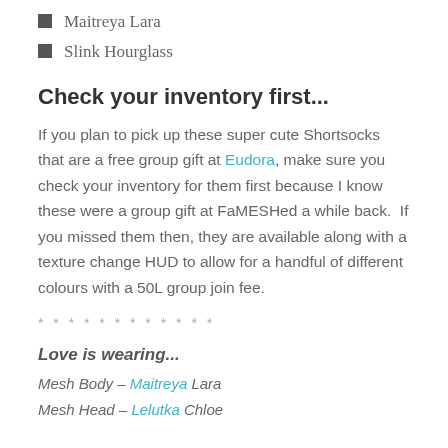Maitreya Lara
Slink Hourglass
Check your inventory first...
If you plan to pick up these super cute Shortsocks that are a free group gift at Eudora, make sure you check your inventory for them first because I know these were a group gift at FaMESHed a while back.  If you missed them then, they are available along with a texture change HUD to allow for a handful of different colours with a 50L group join fee.
* * * * * * * * * * * *
Love is wearing...
Mesh Body – Maitreya Lara
Mesh Head – Lelutka Chloe